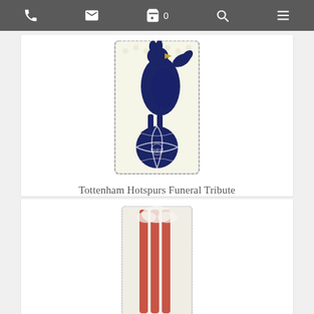Navigation bar with phone, email, cart (0), search, and menu icons
[Figure (photo): Tottenham Hotspurs funeral floral tribute made of white flowers with a dark navy blue cockerel and ball logo in the center]
Tottenham Hotspurs Funeral Tribute
Call for price
[Figure (photo): Partial view of another floral tribute — white and red flowers arranged vertically, partially visible at bottom of page]